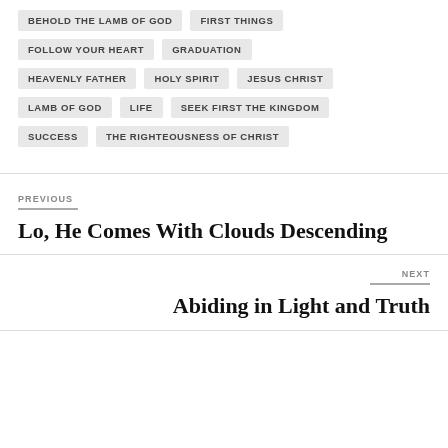BEHOLD THE LAMB OF GOD
FIRST THINGS
FOLLOW YOUR HEART
GRADUATION
HEAVENLY FATHER
HOLY SPIRIT
JESUS CHRIST
LAMB OF GOD
LIFE
SEEK FIRST THE KINGDOM
SUCCESS
THE RIGHTEOUSNESS OF CHRIST
PREVIOUS
Lo, He Comes with Clouds Descending
NEXT
Abiding in Light and Truth